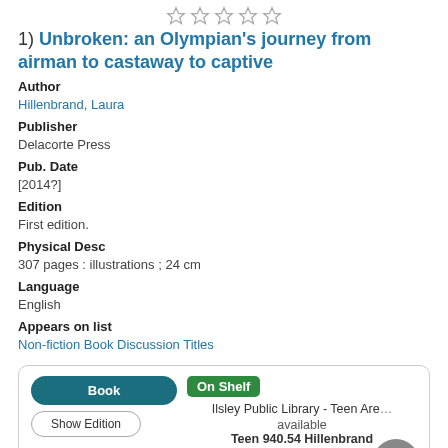[Figure (other): Five star rating icons (outlined/empty stars) in a row]
1) Unbroken: an Olympian's journey from airman to castaway to captive
Author
Hillenbrand, Laura
Publisher
Delacorte Press
Pub. Date
[2014?]
Edition
First edition.
Physical Desc
307 pages : illustrations ; 24 cm
Language
English
Appears on list
Non-fiction Book Discussion Titles
Book | Show Edition | On Shelf | Ilsley Public Library - Teen Area available | Teen 940.54 Hillenbrand | Place Hold